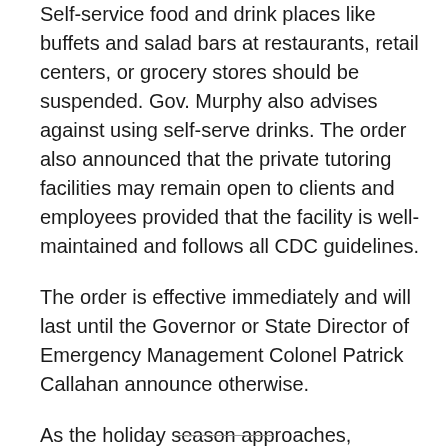Self-service food and drink places like buffets and salad bars at restaurants, retail centers, or grocery stores should be suspended. Gov. Murphy also advises against using self-serve drinks. The order also announced that the private tutoring facilities may remain open to clients and employees provided that the facility is well-maintained and follows all CDC guidelines.
The order is effective immediately and will last until the Governor or State Director of Emergency Management Colonel Patrick Callahan announce otherwise.
As the holiday season approaches, government officials advise New Jersey residents and business personnel to remain vigilant and follow CDC guidelines to protect co-workers, family members, and friends.